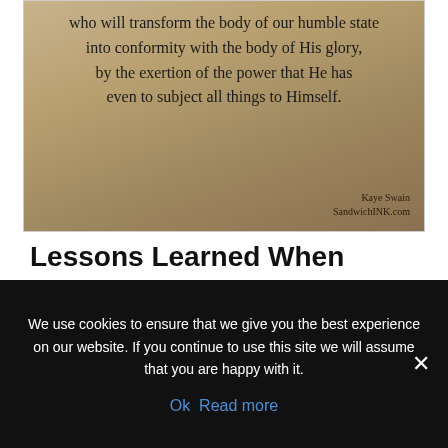[Figure (photo): Sepia-toned photo with a religious Bible verse overlaid in handwritten-style font, reading: 'who will transform the body of our humble state into conformity with the body of His glory, by the exertion of the power that He has even to subject all things to Himself.' Attributed to Kaye Swain / SandwichINK.com]
Lessons Learned When Weeding Through The Storage Unit
The things you think of when wading through piles of
We use cookies to ensure that we give you the best experience on our website. If you continue to use this site we will assume that you are happy with it.
Ok  Read more